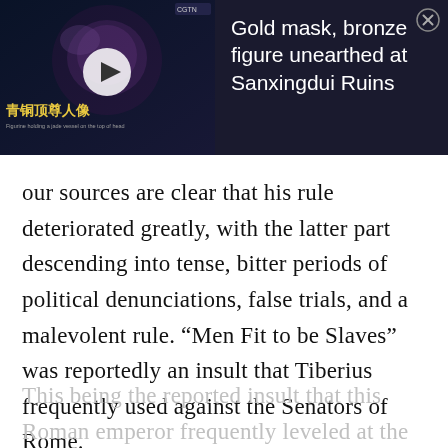[Figure (screenshot): Video thumbnail ad banner with dark background showing Chinese artifact video. Left side shows a dark video thumbnail with Chinese characters '青铜顶尊人像' in yellow and subtitle text, with a play button. Right side shows white title text 'Gold mask, bronze figure unearthed at Sanxingdui Ruins' on dark background with a close (X) button in top right.]
our sources are clear that his rule deteriorated greatly, with the latter part descending into tense, bitter periods of political denunciations, false trials, and a malevolent rule. “Men Fit to be Slaves” was reportedly an insult that Tiberius frequently used against the Senators of Rome.
This being the reported insult that this Roman emperor frequently leveled at the Senators of